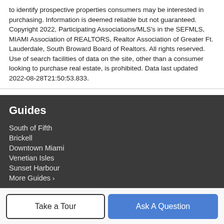to identify prospective properties consumers may be interested in purchasing. Information is deemed reliable but not guaranteed. Copyright 2022, Participating Associations/MLS's in the SEFMLS, MIAMI Association of REALTORS, Realtor Association of Greater Ft. Lauderdale, South Broward Board of Realtors. All rights reserved. Use of search facilities of data on the site, other than a consumer looking to purchase real estate, is prohibited. Data last updated 2022-08-28T21:50:53.833.
Guides
South of Fifth
Brickell
Downtown Miami
Venetian Isles
Sunset Harbour
More Guides ›
Take a Tour
Ask A Question